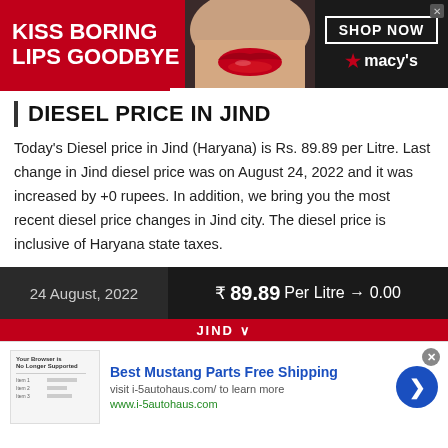[Figure (photo): Macy's advertisement banner: 'KISS BORING LIPS GOODBYE' with woman's lips photo and 'SHOP NOW' button with Macy's star logo]
DIESEL PRICE IN JIND
Today's Diesel price in Jind (Haryana) is Rs. 89.89 per Litre. Last change in Jind diesel price was on August 24, 2022 and it was increased by +0 rupees. In addition, we bring you the most recent diesel price changes in Jind city. The diesel price is inclusive of Haryana state taxes.
| Date | Price |
| --- | --- |
| 24 August, 2022 | ₹ 89.89 Per Litre → 0.00 |
[Figure (screenshot): Red strip with JIND label and dropdown arrow]
[Figure (screenshot): Bottom advertisement for Best Mustang Parts Free Shipping from i-5autohaus.com with blue arrow button]